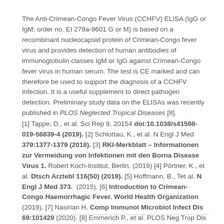The Anti-Crimean-Congo Fever Virus (CCHFV) ELISA (IgG or IgM; order no. EI 279a-9601 G or M) is based on a recombinant nucleocapsid protein of Crimean-Congo fever virus and provides detection of human antibodies of immunoglobulin classes IgM or IgG against Crimean-Congo fever virus in human serum. The test is CE marked and can therefore be used to support the diagnosis of a CCHFV infection. It is a useful supplement to direct pathogen detection. Preliminary study data on the ELISAs was recently published in PLOS Neglected Tropical Diseases [8].
[1] Tappe, D., et al. Sci Rep 9, 20154 doi:10.1038/s41598-019-56839-4 (2019). [2] Schlottau, K., et al. N Engl J Med 379:1377-1379 (2018). [3] RKI-Merkblatt – Informationen zur Vermeidung von Infektionen mit den Borna Disease Virus 1. Robert Koch-Institut, Berlin, (2019) [4] Pörtner, K., et al. Dtsch Arztebl 116(50) (2019). [5] Hoffmann, B., Tet al. N Engl J Med 373.  (2015). [6] Introduction to Crimean-Congo Haemorrhagic Fever. World Health Organization (2019). [7] Nasirian H. Comp Immunol Microbiol Infect Dis 69:101429 (2020). [8] Emmerich P., et al. PLOS Neg Trop Dis https://doi.org/10.1371/journal.pntd.0009280 (2021).